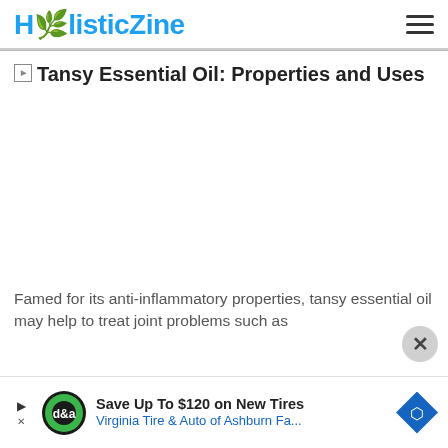HolisticZine
Tansy Essential Oil: Properties and Uses
[Figure (photo): Large image placeholder area for tansy essential oil photograph (image not loaded/blank white area)]
Famed for its anti-inflammatory properties, tansy essential oil may help to treat joint problems such as
[Figure (other): Advertisement banner: Save Up To $120 on New Tires — Virginia Tire & Auto of Ashburn Fa... with auto parts store logo and navigation icon]